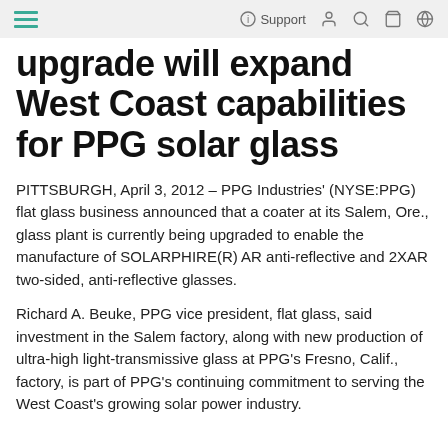Support
upgrade will expand West Coast capabilities for PPG solar glass
PITTSBURGH, April 3, 2012 – PPG Industries' (NYSE:PPG) flat glass business announced that a coater at its Salem, Ore., glass plant is currently being upgraded to enable the manufacture of SOLARPHIRE(R) AR anti-reflective and 2XAR two-sided, anti-reflective glasses.
Richard A. Beuke, PPG vice president, flat glass, said investment in the Salem factory, along with new production of ultra-high light-transmissive glass at PPG's Fresno, Calif., factory, is part of PPG's continuing commitment to serving the West Coast's growing solar power industry.